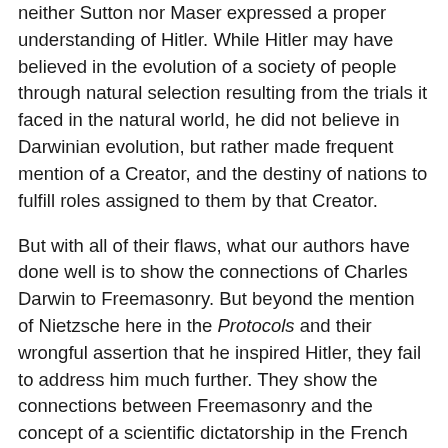neither Sutton nor Maser expressed a proper understanding of Hitler. While Hitler may have believed in the evolution of a society of people through natural selection resulting from the trials it faced in the natural world, he did not believe in Darwinian evolution, but rather made frequent mention of a Creator, and the destiny of nations to fulfill roles assigned to them by that Creator.
But with all of their flaws, what our authors have done well is to show the connections of Charles Darwin to Freemasonry. But beyond the mention of Nietzsche here in the Protocols and their wrongful assertion that he inspired Hitler, they fail to address him much further. They show the connections between Freemasonry and the concept of a scientific dictatorship in the French Revolution, which certainly presaged the attitudes towards science that are manifest as the Jews have steadily increased their influence in publishing and the media to this day. Then they have gone a step beyond that, and have rather adeptly explained that